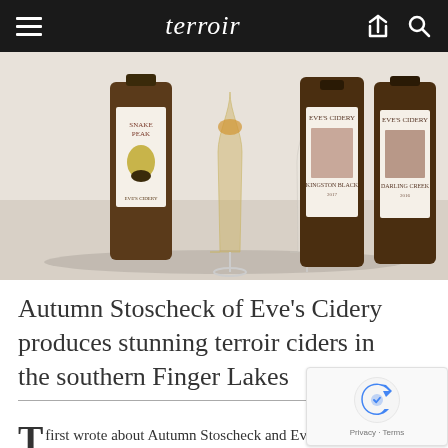terroir
[Figure (photo): Three bottles of Eve's Cidery cider and a wine glass filled with amber-colored cider arranged on a white surface. The labels read 'Eve's Cidery' with various cider names including 'Kingston Black' and 'Darling Creek'. One bottle has a pear illustration on the label.]
Autumn Stoscheck of Eve's Cidery produces stunning terroir ciders in the southern Finger Lakes
T first wrote about Autumn Stoscheck and Eve's